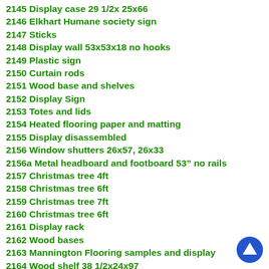2145 Display case 29 1/2x 25x66
2146 Elkhart Humane society sign
2147 Sticks
2148 Display wall 53x53x18 no hooks
2149 Plastic sign
2150 Curtain rods
2151 Wood base and shelves
2152 Display Sign
2153 Totes and lids
2154 Heated flooring paper and matting
2155 Display disassembled
2156 Window shutters 26x57, 26x33
2156a Metal headboard and footboard 53” no rails
2157 Christmas tree 4ft
2158 Christmas tree 6ft
2159 Christmas tree 7ft
2160 Christmas tree 6ft
2161 Display rack
2162 Wood bases
2163 Mannington Flooring samples and display
2164 Wood shelf 38 1/2x24x97
2165 Picture frame 41x39